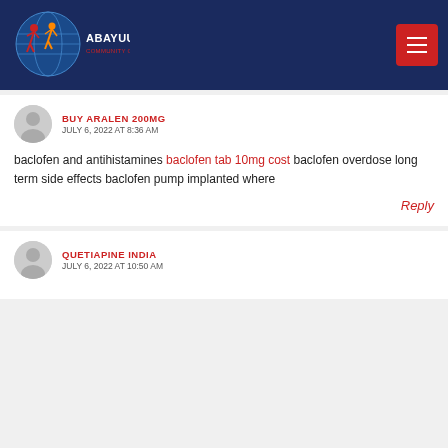ABAYUUTI COMMUNITY GROUP
BUY ARALEN 200MG
JULY 6, 2022 AT 8:36 AM
baclofen and antihistamines baclofen tab 10mg cost baclofen overdose long term side effects baclofen pump implanted where
Reply
QUETIAPINE INDIA
JULY 6, 2022 AT 10:50 AM